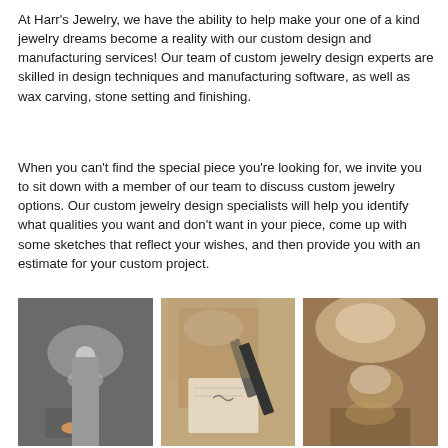At Harr's Jewelry, we have the ability to help make your one of a kind jewelry dreams become a reality with our custom design and manufacturing services! Our team of custom jewelry design experts are skilled in design techniques and manufacturing software, as well as wax carving, stone setting and finishing.
When you can't find the special piece you're looking for, we invite you to sit down with a member of our team to discuss custom jewelry options. Our custom jewelry design specialists will help you identify what qualities you want and don't want in your piece, come up with some sketches that reflect your wishes, and then provide you with an estimate for your custom project.
[Figure (photo): Close-up photo of a jeweler's tool polishing or setting a gemstone ring, hands holding the piece]
[Figure (photo): Hands sketching or drawing jewelry design on paper with a pen, wearing a watch]
[Figure (photo): Close-up of hands holding and working on a ring with a gemstone setting]